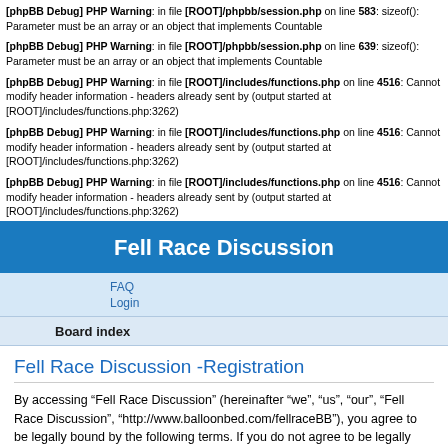[phpBB Debug] PHP Warning: in file [ROOT]/phpbb/session.php on line 583: sizeof(): Parameter must be an array or an object that implements Countable
[phpBB Debug] PHP Warning: in file [ROOT]/phpbb/session.php on line 639: sizeof(): Parameter must be an array or an object that implements Countable
[phpBB Debug] PHP Warning: in file [ROOT]/includes/functions.php on line 4516: Cannot modify header information - headers already sent by (output started at [ROOT]/includes/functions.php:3262)
[phpBB Debug] PHP Warning: in file [ROOT]/includes/functions.php on line 4516: Cannot modify header information - headers already sent by (output started at [ROOT]/includes/functions.php:3262)
[phpBB Debug] PHP Warning: in file [ROOT]/includes/functions.php on line 4516: Cannot modify header information - headers already sent by (output started at [ROOT]/includes/functions.php:3262)
Fell Race Discussion
FAQ
Login
Board index
Fell Race Discussion -Registration
By accessing “Fell Race Discussion” (hereinafter “we”, “us”, “our”, “Fell Race Discussion”, “http://www.balloonbed.com/fellraceBB”), you agree to be legally bound by the following terms. If you do not agree to be legally bound by all of the following terms then please do not access and/or use “Fell Race Discussion”. We may change these at any time and we’ll do our utmost in informing you, though it would be prudent to review this regularly yourself as your continued usage of “Fell Race Discussion” after changes mean you agree to be legally bound by these terms as they are updated and/or amended.